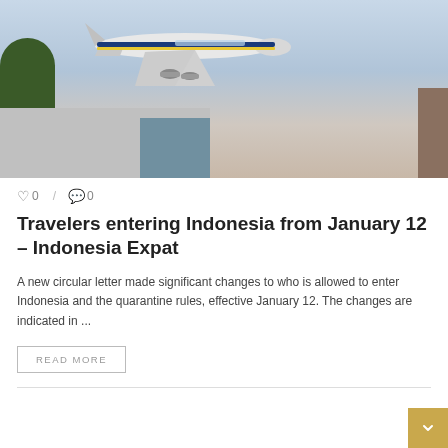[Figure (photo): A large commercial airplane (Air China livery) coming in to land, photographed from below against a partly cloudy sky, with a building and trees visible in the background.]
0 / 0
Travelers entering Indonesia from January 12 – Indonesia Expat
A new circular letter made significant changes to who is allowed to enter Indonesia and the quarantine rules, effective January 12. The changes are indicated in ...
READ MORE